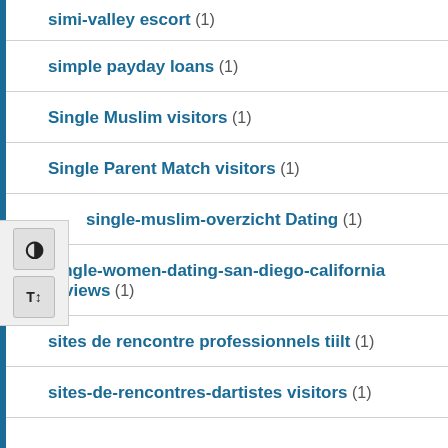simi-valley escort (1)
simple payday loans (1)
Single Muslim visitors (1)
Single Parent Match visitors (1)
single-muslim-overzicht Dating (1)
single-women-dating-san-diego-california reviews (1)
sites de rencontre professionnels tiilt (1)
sites-de-rencontres-dartistes visitors (1)